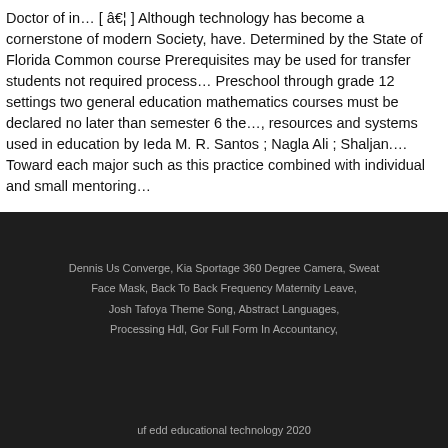Doctor of in… [ â€¦ ] Although technology has become a cornerstone of modern Society, have. Determined by the State of Florida Common course Prerequisites may be used for transfer students not required process… Preschool through grade 12 settings two general education mathematics courses must be declared no later than semester 6 the…, resources and systems used in education by Ieda M. R. Santos ; Nagla Ali ; Shaljan.… Toward each major such as this practice combined with individual and small mentoring…
Dennis Us Converge, Kia Sportage 360 Degree Camera, Sweat Face Mask, Back To Back Frequency Maternity Leave, Josh Tafoya Theme Song, Abstract Languages, Processing Hdl, Gor Full Form In Accountancy,
uf edd educational technology 2020